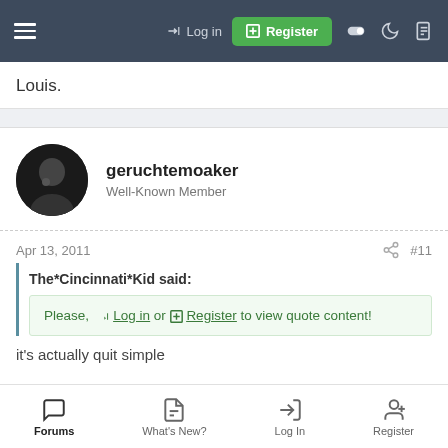Log in | Register
Louis.
geruchtemoaker
Well-Known Member
Apr 13, 2011  #11
The*Cincinnati*Kid said:
Please, Log in or Register to view quote content!
it's actually quit simple
Forums | What's New? | Log In | Register